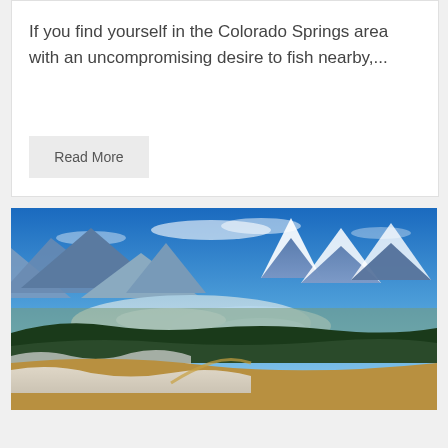If you find yourself in the Colorado Springs area with an uncompromising desire to fish nearby,...
Read More
[Figure (photo): Aerial mountain landscape view showing a frozen or partially frozen lake/reservoir in a valley surrounded by snow-capped mountains, conifer forests, and golden hillside grasses in the foreground, under a bright blue sky with light clouds.]